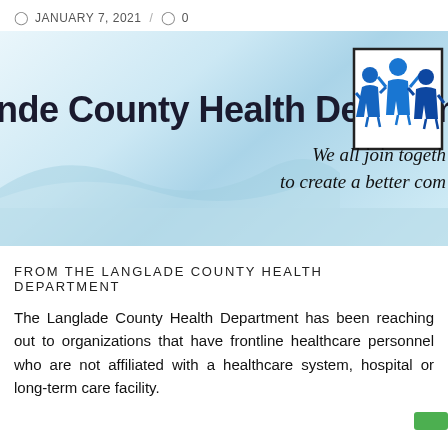JANUARY 7, 2021 / 0
[Figure (illustration): Langlade County Health Department banner image with logo of three blue human figures, tagline 'We all join together to create a better com[munity]', blue wave decorative background]
FROM THE LANGLADE COUNTY HEALTH DEPARTMENT
The Langlade County Health Department has been reaching out to organizations that have frontline healthcare personnel who are not affiliated with a healthcare system, hospital or long-term care facility.